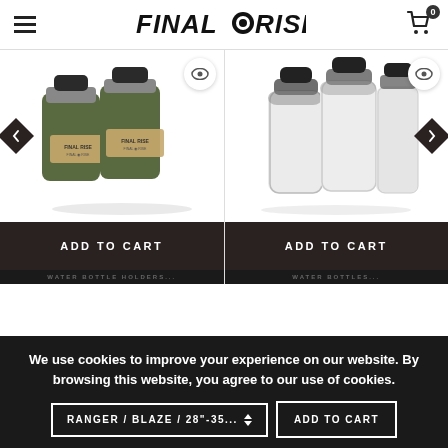FINALORISE - Navigation header with hamburger menu and cart (0 items)
[Figure (photo): Two olive green water bottle holders with black caps and FINAL RISE label branding, product image with navigation arrows and eye/quick-view button]
[Figure (photo): Two clear/transparent plastic water bottles with black caps, product image with navigation arrows and eye/quick-view button]
ADD TO CART
ADD TO CART
We use cookies to improve your experience on our website. By browsing this website, you agree to our use of cookies.
RANGER / BLAZE / 28"-35...
ADD TO CART